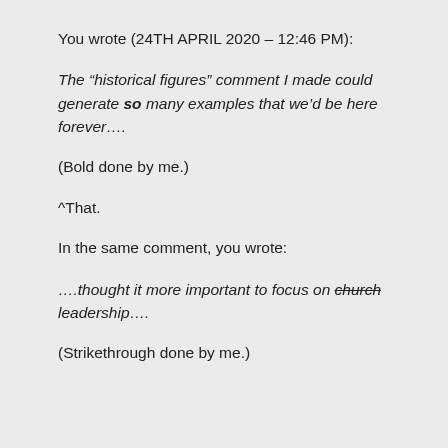You wrote (24TH APRIL 2020 – 12:46 PM):
The “historical figures” comment I made could generate so many examples that we’d be here forever….
(Bold done by me.)
^That.
In the same comment, you wrote:
….thought it more important to focus on church leadership….
(Strikethrough done by me.)